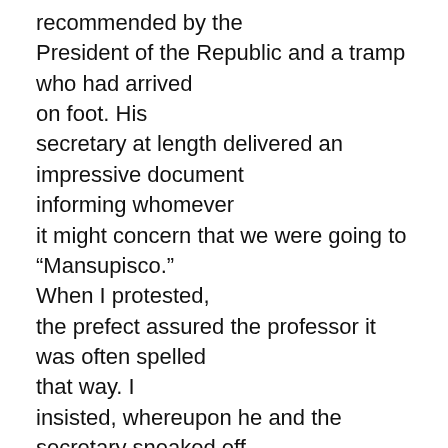recommended by the President of the Republic and a tramp who had arrived on foot. His secretary at length delivered an impressive document informing whomever it might concern that we were going to “Mansupisco.” When I protested, the prefect assured the professor it was often spelled that way. I insisted, whereupon he and the secretary sneaked off and found a geography, and this time got all right except the date. That was a week behind time, which was perhaps in keeping with the local color.
Martinelli of the cinema, who volunteered to accompany us, owned a coast